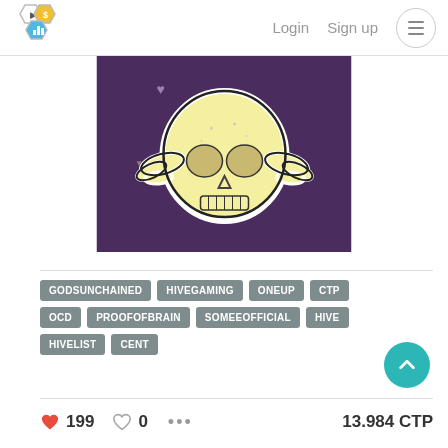Login  Sign up
[Figure (illustration): Cartoon skull sticker illustration on purple background — a yellow/cream colored skull with decorative wing-like splashes on either side, drawn in doodle style with black outline, on a deep purple/plum background with small heart shapes scattered around.]
GODSUNCHAINED
HIVEGAMING
ONEUP
CTP
OCD
PROOFOFBRAIN
SOMEEOFFICIAL
HIVE
HIVELIST
CENT
199  0  ...  13.984 CTP